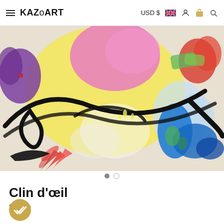KAZoART  USD $  [UK flag]  [user icon]  [bag icon]  [search icon]
[Figure (photo): Abstract colorful painting showing bold brushstrokes with black, pink, yellow, blue, red, green and purple paint on a light background]
Clin d'œil
Flatvie
[Figure (other): Gold verified badge with double-check mark icon]